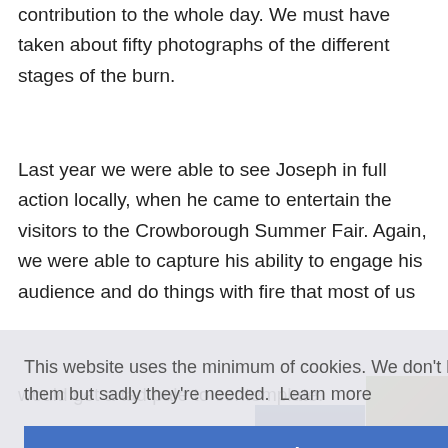contribution to the whole day. We must have taken about fifty photographs of the different stages of the burn.
Last year we were able to see Joseph in full action locally, when he came to entertain the visitors to the Crowborough Summer Fair. Again, we were able to capture his ability to engage his audience and do things with fire that most of us would get a tad pale to contemplate.
This website uses the minimum of cookies. We don't like using them but sadly they're needed.  Learn more
[Figure (screenshot): Cookie consent overlay with a blue 'Got it!' button and partially visible photo thumbnails in the background]
[Figure (photo): Partial photos visible at bottom of page showing outdoor scenes]